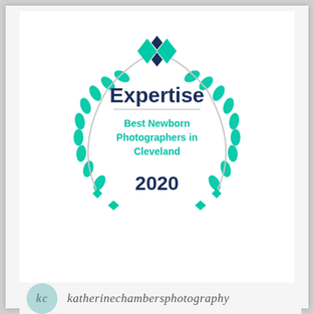[Figure (logo): Expertise award badge with teal laurel wreath, diamond/linked logo mark in teal and navy, 'Expertise' title, 'Best Newborn Photographers in Cleveland' subtitle, year 2020]
[Figure (logo): Katherine Chambers Photography logo with teal circle containing 'kc' initials and cursive brand name text 'katherinechambersphotography']